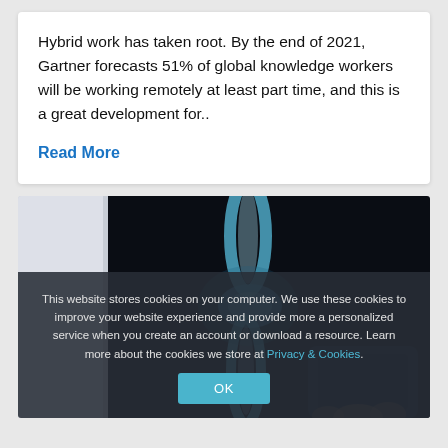Hybrid work has taken root. By the end of 2021, Gartner forecasts 51% of global knowledge workers will be working remotely at least part time, and this is a great development for..
Read More
[Figure (photo): Doctor or person holding a tablet, with an X-ray image of a knee/leg joint displayed on a dark screen in the background.]
This website stores cookies on your computer. We use these cookies to improve your website experience and provide more a personalized service when you create an account or download a resource. Learn more about the cookies we store at Privacy & Cookies.